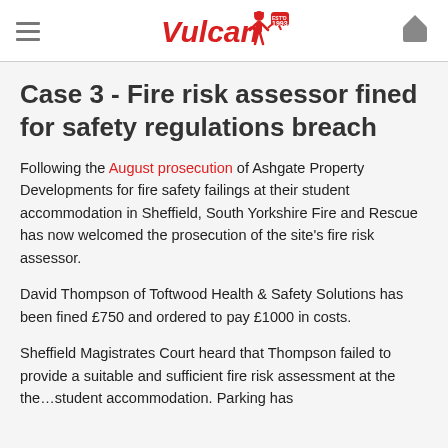Vulcan (logo) — hamburger menu and basket icon
Case 3 - Fire risk assessor fined for safety regulations breach
Following the August prosecution of Ashgate Property Developments for fire safety failings at their student accommodation in Sheffield, South Yorkshire Fire and Rescue has now welcomed the prosecution of the site's fire risk assessor.
David Thompson of Toftwood Health & Safety Solutions has been fined £750 and ordered to pay £1000 in costs.
Sheffield Magistrates Court heard that Thompson failed to provide a suitable and sufficient fire risk assessment at the the…student accommodation. Parking has...